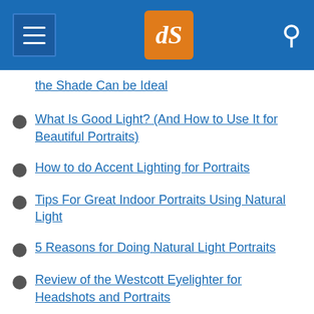dPS (digital Photography School) navigation header
the Shade Can be Ideal
What Is Good Light? (And How to Use It for Beautiful Portraits)
How to do Accent Lighting for Portraits
Tips For Great Indoor Portraits Using Natural Light
5 Reasons for Doing Natural Light Portraits
Review of the Westcott Eyelighter for Headshots and Portraits
How to Use Angle of Light in People Photography for Added Punch
High Speed Sync Versus a Neutral Density Filter to Overcome Bright Sunlight in Portraits